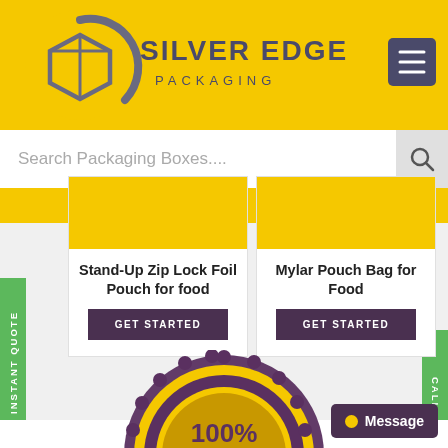[Figure (logo): Silver Edge Packaging logo with geometric box icon in gray]
SILVER EDGE PACKAGING
[Figure (screenshot): Search bar with text 'Search Packaging Boxes....' and search icon]
[Figure (illustration): Product card: Stand-Up Zip Lock Foil Pouch for food with GET STARTED button]
[Figure (illustration): Product card: Mylar Pouch Bag for Food with GET STARTED button]
[Figure (illustration): 100% Customers' Satisfaction badge with ribbon and stars]
GET INSTANT QUOTE
CALL US
Message